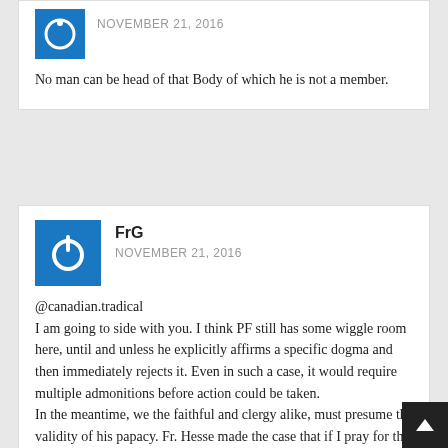No man can be head of that Body of which he is not a member.
NOVEMBER 21, 2016
FrG
NOVEMBER 21, 2016
@canadian.tradical
I am going to side with you. I think PF still has some wiggle room here, until and unless he explicitly affirms a specific dogma and then immediately rejects it. Even in such a case, it would require multiple admonitions before action could be taken.
In the meantime, we the faithful and clergy alike, must presume the validity of his papacy. Fr. Hesse made the case that if I pray for the Pope while he is not in fact the Pope, then the Lord will not hold this against me.
However, If I fail to pray for the Pope and he turns out to be the Pope indeed, then I will liable to judgment...